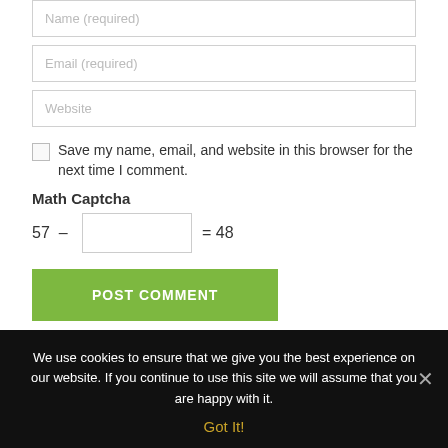[Figure (screenshot): Form input field with placeholder text 'Name (required)', partially visible at top]
[Figure (screenshot): Form input field with placeholder text 'Email (required)']
[Figure (screenshot): Form input field with placeholder text 'Website']
Save my name, email, and website in this browser for the next time I comment.
Math Captcha
[Figure (screenshot): Green button labeled POST COMMENT]
We use cookies to ensure that we give you the best experience on our website. If you continue to use this site we will assume that you are happy with it.
Got It!